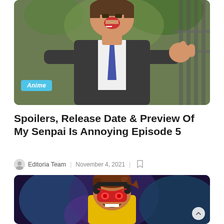[Figure (screenshot): Anime screenshot of a man in a dark suit with a blue tie pointing his finger, mouth open, set against a green outdoor background. A cyan 'Anime' badge is overlaid in the bottom-left corner.]
Spoilers, Release Date & Preview Of My Senpai Is Annoying Episode 5
Editoria Team  |  November 4, 2021  |  [bookmark icon]
[Figure (screenshot): Anime screenshot of a young male character with brown hair, yellow costume, red mask, and black headphones, smiling against a colorful blue and purple background.]